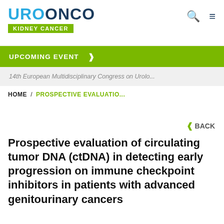[Figure (logo): UROONCO logo with KIDNEY CANCER badge in green]
UPCOMING EVENT >
14th European Multidisciplinary Congress on Urolo...
HOME / PROSPECTIVE EVALUATIO...
< BACK
Prospective evaluation of circulating tumor DNA (ctDNA) in detecting early progression on immune checkpoint inhibitors in patients with advanced genitourinary cancers